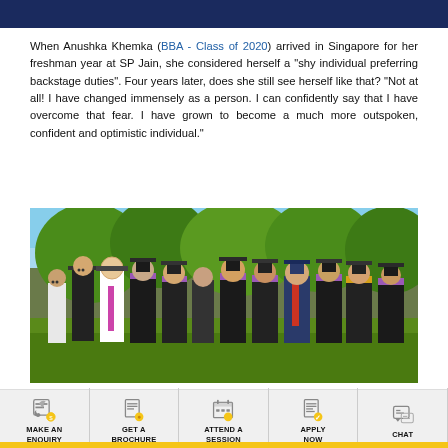When Anushka Khemka (BBA - Class of 2020) arrived in Singapore for her freshman year at SP Jain, she considered herself a "shy individual preferring backstage duties". Four years later, does she still see herself like that? "Not at all! I have changed immensely as a person. I can confidently say that I have overcome that fear. I have grown to become a much more outspoken, confident and optimistic individual."
[Figure (photo): Group photo of graduating students in black graduation gowns with purple stoles, posing outdoors on a sunny day with green trees in the background.]
MAKE AN ENQUIRY | GET A BROCHURE | ATTEND A SESSION | APPLY NOW | CHAT